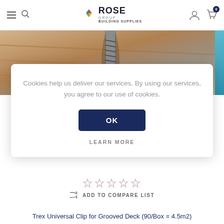[Figure (screenshot): Rose Group Building Supplies website header with hamburger menu, search icon, logo, user icon, and cart icon with badge 0]
[Figure (photo): Close-up photo of a screw being driven into wood decking material]
Cookies help us deliver our services. By using our services, you agree to our use of cookies.
OK
LEARN MORE
[Figure (other): Five empty star rating icons]
ADD TO COMPARE LIST
Trex Universal Clip for Grooved Deck (90/Box = 4.5m2)